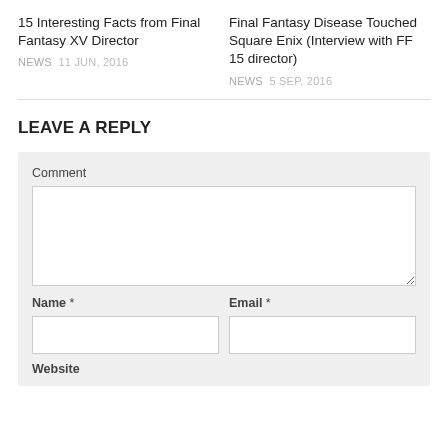15 Interesting Facts from Final Fantasy XV Director
NEWS  11 JUN, 2016
Final Fantasy Disease Touched Square Enix (Interview with FF 15 director)
NEWS  5 SEP, 2016
LEAVE A REPLY
Comment
Name *
Email *
Website